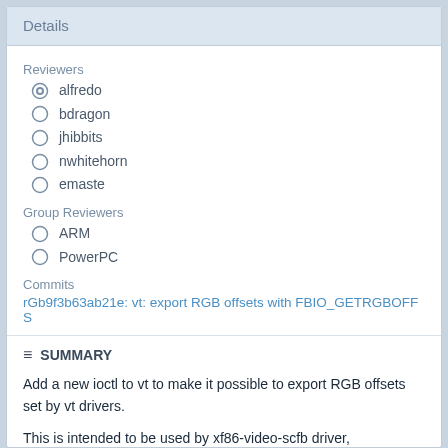Details
Reviewers
alfredo
bdragon
jhibbits
nwhitehorn
emaste
Group Reviewers
ARM
PowerPC
Commits
rGb9f3b63ab21e: vt: export RGB offsets with FBIO_GETRGBOFFS
SUMMARY
Add a new ioctl to vt to make it possible to export RGB offsets set by vt drivers.
This is intended to be used by xf86-video-scfb driver,